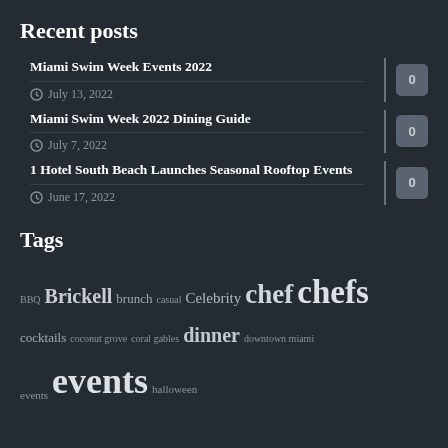Recent posts
Miami Swim Week Events 2022 · July 13, 2022 · 0
Miami Swim Week 2022 Dining Guide · July 7, 2022 · 0
1 Hotel South Beach Launches Seasonal Rooftop Events · June 17, 2022 · 0
Tags
BBQ Brickell brunch casual Celebrity chef chefs cocktails coconut grove coral gables dinner downtown miami events hallenman